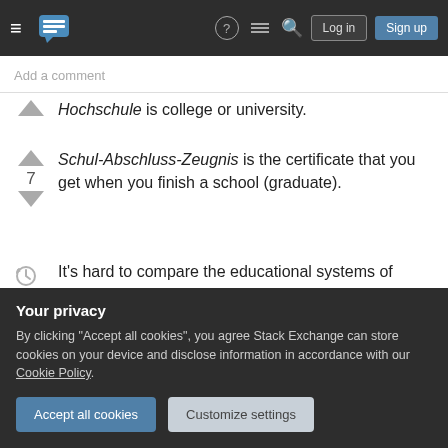[Figure (screenshot): Stack Exchange navigation bar with hamburger menu, logo, help icon, chat icon, search icon, Log in and Sign up buttons]
Add a comment
Hochschule is college or university.
Schul-Abschluss-Zeugnis is the certificate that you get when you finish a school (graduate).
It's hard to compare the educational systems of different countries. Thus they ask for a diploma from any school that allows you to enter college or university. Depending on the country of origin that
Your privacy
By clicking "Accept all cookies", you agree Stack Exchange can store cookies on your device and disclose information in accordance with our Cookie Policy.
Accept all cookies
Customize settings